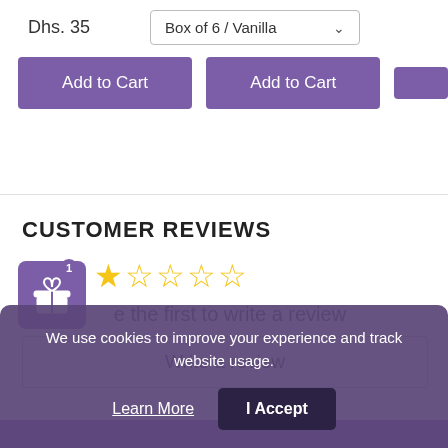Dhs. 35
Box of 6 / Vanilla
Add to Cart
Add to Cart
CUSTOMER REVIEWS
[Figure (other): 5-star rating widget showing 1 filled star and 4 empty stars in gold/yellow]
Be the first to write a review
Write a review
We use cookies to improve your experience and track website usage.
Learn More
I Accept